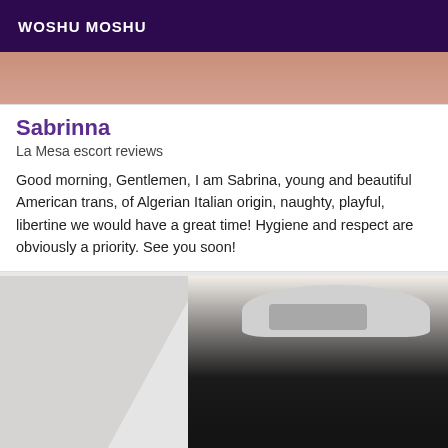WOSHU MOSHU
[Figure (photo): Top cropped photo showing skin tones, partial body image]
Sabrinna
La Mesa escort reviews
Good morning, Gentlemen, I am Sabrina, young and beautiful American trans, of Algerian Italian origin, naughty, playful, libertine we would have a great time! Hygiene and respect are obviously a priority. See you soon!
[Figure (photo): Person taking a mirror selfie wearing a white cap and dark clothing, holding a phone]